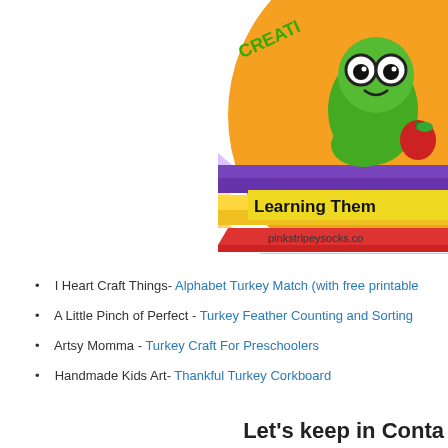[Figure (logo): Partial circular logo with orange background showing a green bookworm character with glasses sitting on colored pencils and books. Text reads 'Learning Them...' and 'pinkstripeysocks.co' partially visible.]
I Heart Craft Things- Alphabet Turkey Match (with free printable
A Little Pinch of Perfect - Turkey Feather Counting and Sorting
Artsy Momma - Turkey Craft For Preschoolers
Handmade Kids Art- Thankful Turkey Corkboard
Let's keep in Conta